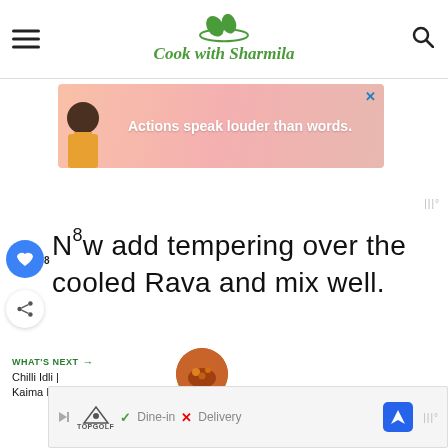Cook with Sharmila
[Figure (photo): Advertisement banner with person illustration and text 'Actions speak louder than words.']
Now add tempering over the cooled Rava and mix well.
WHAT'S NEXT → Chilli Idli | Kaima Idli |...
[Figure (photo): Bottom advertisement banner with Topgolf logo, Dine-in checkmark, Delivery X mark, and navigation icon]